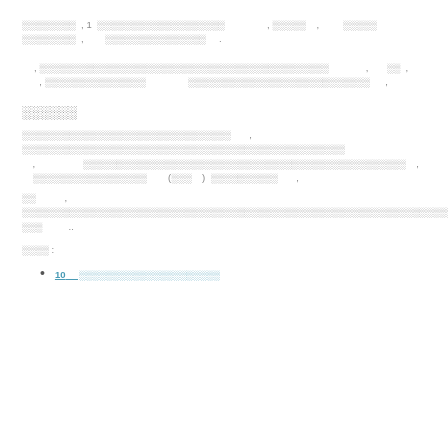░░░░░░░░ , 1 ░░░░░░░░░░░░░░░░░░░ , ░░░░░ , ░░░░░░ ░░░░░░░░ , ░░░░░░░░░░░░░░░ .
, ░░░░░░░░░░░░░░░░░░░░░░░░░░░░░░░░░░░░░░░░░░░ , ░░ , , ░░░░░░░░░░░░░░░░ ░░░░░░░░░░░░░░░░░░░░░░░░░░░ ,
░░░░░░
░░░░░░░░░░░░░░░░░░░░░░░░░░░░░░░ , ░░░░░░░░░░░░░░░░░░░░░░░░░░░░░░░░░░░░░░░░░░░░░░ , ░░░░░░░░░░░░░░░░░░░░░░░░░░░░░░░░░░░░░░░░░░░░░░░░ , ░░░░░░░░░░░░░░░░░ (░░░ ) ░░░░░░░░░░ ,
░░ , ░░░░░░░░░░░░░░░░░░░░░░░░░░░░░░░░░░░░░░░░░░░░░░░░░░░░░░░░░░░░░░░░░░░░ ░░░ ..
░░░░ :
10 ░░░░░░░░░░░░░░░░░░░░░